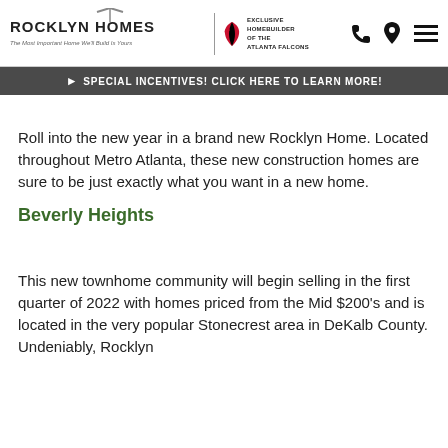ROCKLYN HOMES — The Most Important Home We'll Build Is Yours | EXCLUSIVE HOMEBUILDER OF THE ATLANTA FALCONS
SPECIAL INCENTIVES! CLICK HERE TO LEARN MORE!
Roll into the new year in a brand new Rocklyn Home. Located throughout Metro Atlanta, these new construction homes are sure to be just exactly what you want in a new home.
Beverly Heights
This new townhome community will begin selling in the first quarter of 2022 with homes priced from the Mid $200's and is located in the very popular Stonecrest area in DeKalb County. Undeniably, Rocklyn